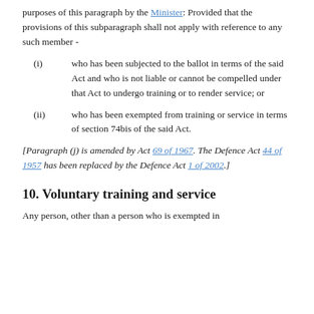purposes of this paragraph by the Minister: Provided that the provisions of this subparagraph shall not apply with reference to any such member -
(i) who has been subjected to the ballot in terms of the said Act and who is not liable or cannot be compelled under that Act to undergo training or to render service; or
(ii) who has been exempted from training or service in terms of section 74bis of the said Act.
[Paragraph (j) is amended by Act 69 of 1967. The Defence Act 44 of 1957 has been replaced by the Defence Act 1 of 2002.]
10. Voluntary training and service
Any person, other than a person who is exempted in